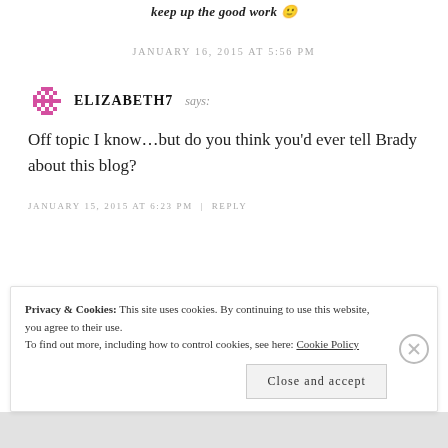keep up the good work 🙂
JANUARY 16, 2015 AT 5:56 PM
ELIZABETH7 says:
Off topic I know...but do you think you'd ever tell Brady about this blog?
JANUARY 15, 2015 AT 6:23 PM | REPLY
Privacy & Cookies: This site uses cookies. By continuing to use this website, you agree to their use.
To find out more, including how to control cookies, see here: Cookie Policy
Close and accept